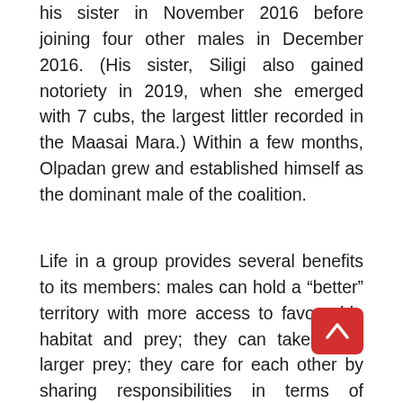his sister in November 2016 before joining four other males in December 2016. (His sister, Siligi also gained notoriety in 2019, when she emerged with 7 cubs, the largest littler recorded in the Maasai Mara.) Within a few months, Olpadan grew and established himself as the dominant male of the coalition.
Life in a group provides several benefits to its members: males can hold a “better” territory with more access to favourable habitat and prey; they can take down larger prey; they care for each other by sharing responsibilities in terms of vigilance and territorial patrols, and numbers provide greater defence against rival males and kleptoparasites. The Tano Bora males are no exception to this rule